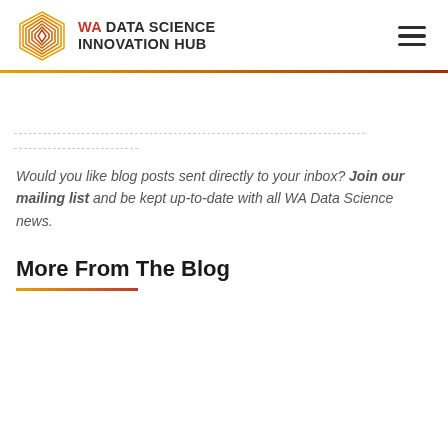[Figure (logo): WA Data Science Innovation Hub logo with hexagon icon and text]
- - - - - - - - - - - - - - - - - - - - - - - - - - - - - - - - - - - - - - - - - - - - - - - - - - - - - - - - - - - - - - - - - - - - - - - - - - - - - - -
- - - - - - - - - - - - - - - - - - - - - - - - - -
Would you like blog posts sent directly to your inbox? Join our mailing list and be kept up-to-date with all WA Data Science news.
More From The Blog